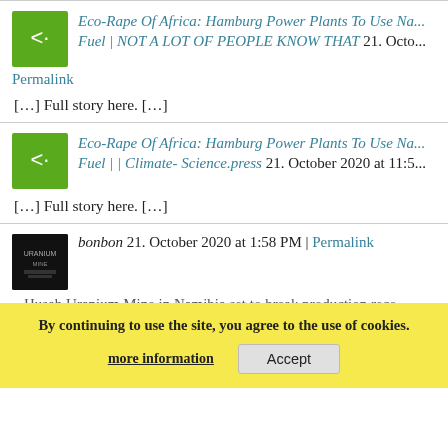Eco-Rape Of Africa: Hamburg Power Plants To Use Na... Fuel | NOT A LOT OF PEOPLE KNOW THAT 21. Octo...
Permalink
[…] Full story here. […]
Eco-Rape Of Africa: Hamburg Power Plants To Use Na... Fuel | | Climate- Science.press 21. October 2020 at 11:5...
[…] Full story here. […]
bonbon 21. October 2020 at 1:58 PM | Permalink
Husab Uranium Mine in Namibia set to break production records… WINDHOEK, Namibia (Online) – China's biggest single investment in Africa, Husab Uranium Mine in Namibia, worth two billion U.S. to start operations by the end of this year.
By continuing to use the site, you agree to the use of cookies.
more information
Accept